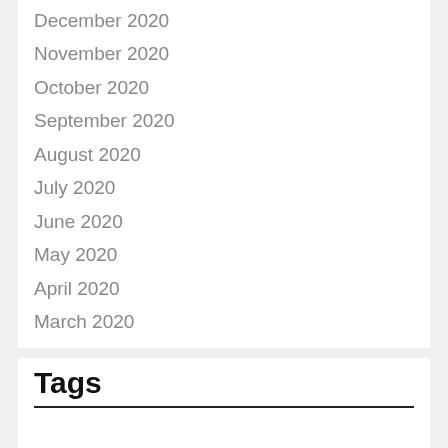December 2020
November 2020
October 2020
September 2020
August 2020
July 2020
June 2020
May 2020
April 2020
March 2020
Tags
baked bakery baking bananas blueberries cakes calorie candy cherries consuming cooking deserted dessert desserts dinner eating fruit fruits healthiest